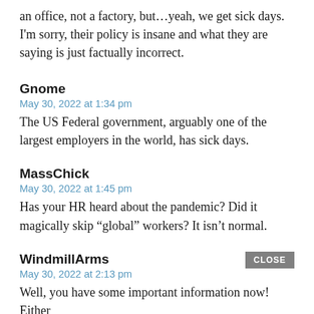an office, not a factory, but…yeah, we get sick days. I'm sorry, their policy is insane and what they are saying is just factually incorrect.
Gnome
May 30, 2022 at 1:34 pm
The US Federal government, arguably one of the largest employers in the world, has sick days.
MassChick
May 30, 2022 at 1:45 pm
Has your HR heard about the pandemic? Did it magically skip “global” workers? It isn’t normal.
WindmillArms
May 30, 2022 at 2:13 pm
Well, you have some important information now! Either